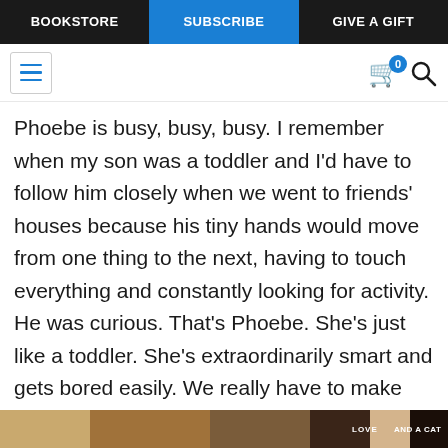BOOKSTORE | SUBSCRIBE | GIVE A GIFT
Phoebe is busy, busy, busy. I remember when my son was a toddler and I'd have to follow him closely when we went to friends' houses because his tiny hands would move from one thing to the next, having to touch everything and constantly looking for activity. He was curious. That's Phoebe. She's just like a toddler. She's extraordinarily smart and gets bored easily. We really have to make sure she gets enough attention and interactive toys. So when she's awake, she's on the move.
[Figure (photo): Partial bottom image strip showing a book or scene, partially cropped]